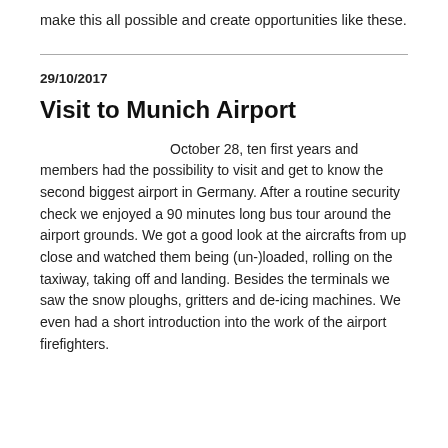make this all possible and create opportunities like these.
29/10/2017
Visit to Munich Airport
October 28, ten first years and members had the possibility to visit and get to know the second biggest airport in Germany. After a routine security check we enjoyed a 90 minutes long bus tour around the airport grounds. We got a good look at the aircrafts from up close and watched them being (un-)loaded, rolling on the taxiway, taking off and landing. Besides the terminals we saw the snow ploughs, gritters and de-icing machines. We even had a short introduction into the work of the airport firefighters.